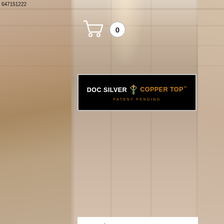647151222
[Figure (screenshot): Shopping cart icon with badge showing 0 items, displayed over store interior background]
[Figure (logo): Doc Silver Copper Top patent pending logo on black background]
< Back to Home
[Figure (photo): Product photo showing a black cap/hat against a grey background]